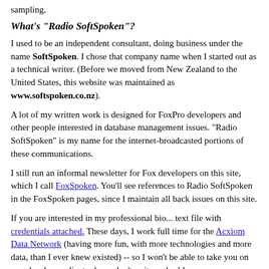sampling.
What's "Radio SoftSpoken"?
I used to be an independent consultant, doing business under the name SoftSpoken. I chose that company name when I started out as a technical writer. (Before we moved from New Zealand to the United States, this website was maintained as www.softspoken.co.nz).
A lot of my written work is designed for FoxPro developers and other people interested in database management issues. "Radio SoftSpoken" is my name for the internet-broadcasted portions of these communications.
I still run an informal newsletter for Fox developers on this site, which I call FoxSpoken. You'll see references to Radio SoftSpoken in the FoxSpoken pages, since I maintain all back issues on this site.
If you are interested in my professional bio... text file with credentials attached. These days, I work full time for the Acxiom Data Network (having more fun, with more technologies and more data, than I ever knew existed) -- so I won't be able to take you on as a developer-client, please don't write and ask!